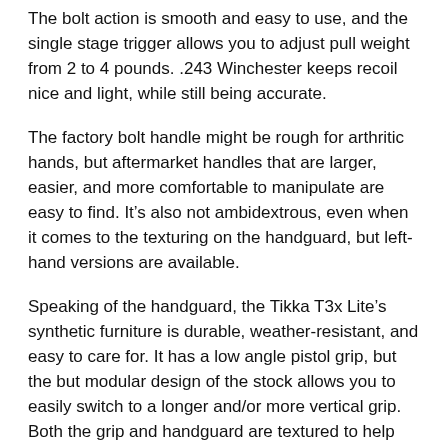The bolt action is smooth and easy to use, and the single stage trigger allows you to adjust pull weight from 2 to 4 pounds. .243 Winchester keeps recoil nice and light, while still being accurate.
The factory bolt handle might be rough for arthritic hands, but aftermarket handles that are larger, easier, and more comfortable to manipulate are easy to find. It’s also not ambidextrous, even when it comes to the texturing on the handguard, but left-hand versions are available.
Speaking of the handguard, the Tikka T3x Lite’s synthetic furniture is durable, weather-resistant, and easy to care for. It has a low angle pistol grip, but the but modular design of the stock allows you to easily switch to a longer and/or more vertical grip. Both the grip and handguard are textured to help you keep a firm grasp on the rifle, while a soft, recoil absorbing butt pad makes the kick of the rifle even easier on joints.